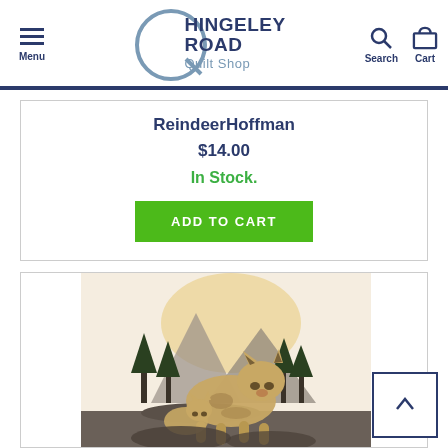Hingeley Road Quilt Shop — Menu | Search | Cart
ReindeerHoffman
$14.00
In Stock.
ADD TO CART
[Figure (photo): Photo of a lynx or bobcat standing on rocky terrain with forest and mountains in background]